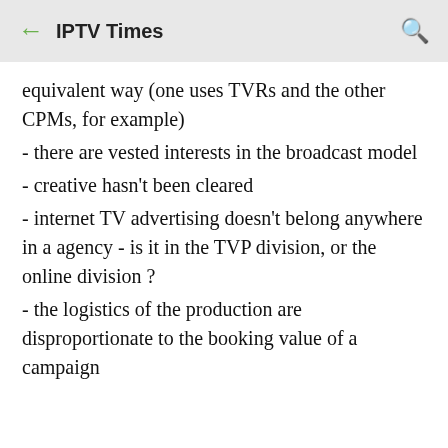← IPTV Times 🔍
equivalent way (one uses TVRs and the other CPMs, for example)
- there are vested interests in the broadcast model
- creative hasn't been cleared
- internet TV advertising doesn't belong anywhere in a agency - is it in the TVP division, or the online division ?
- the logistics of the production are disproportionate to the booking value of a campaign